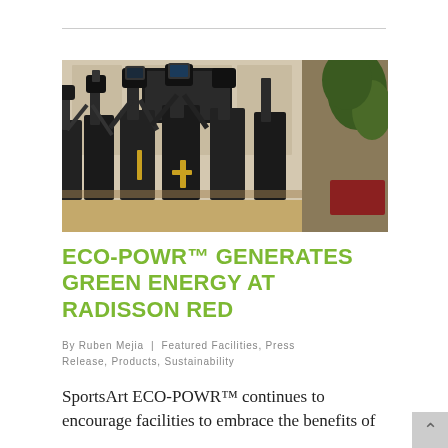[Figure (photo): Row of exercise machines (ellipticals/cross-trainers) in a dark gym setting with yellow accents, plant visible on right side, wood-paneled cabinets in background]
ECO-POWR™ GENERATES GREEN ENERGY AT RADISSON RED
By Ruben Mejia  |  Featured Facilities, Press Release, Products, Sustainability
SportsArt ECO-POWR™ continues to encourage facilities to embrace the benefits of